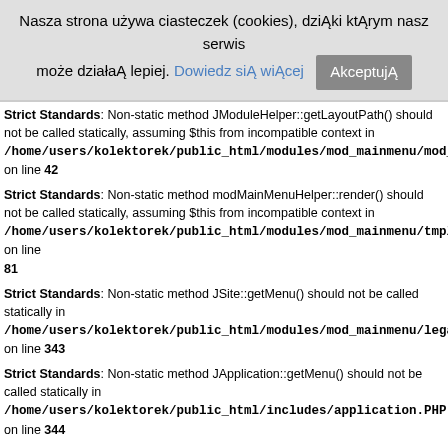Nasza strona używa ciasteczek (cookies), dzięki którym nasz serwis może działać lepiej. Dowiedz się więcej  AkceptujÄ™
Strict Standards: Non-static method JModuleHelper::getLayoutPath() should not be called statically, assuming $this from incompatible context in /home/users/kolektorek/public_html/modules/mod_mainmenu/mod_mainmenu.php on line 42
Strict Standards: Non-static method modMainMenuHelper::render() should not be called statically, assuming $this from incompatible context in /home/users/kolektorek/public_html/modules/mod_mainmenu/tmpl/default.php on line 81
Strict Standards: Non-static method JSite::getMenu() should not be called statically in /home/users/kolektorek/public_html/modules/mod_mainmenu/legacy.php on line 343
Strict Standards: Non-static method JApplication::getMenu() should not be called statically in /home/users/kolektorek/public_html/includes/application.PHP on line 344
Strict Standards: Non-static method JLoader::import() should not be called statically in /home/users/kolektorek/public_html/libraries/loader.php on line 186
Strict Standards: Non-static method JMenu::getInstance() should not be called statically in /home/users/kolektorek/public_html/libraries/joomla/application/application.php on line 682
Strict Standards: Non-static method JError::isError() should not be called statically in /home/users/kolektorek/public_html/libraries/joomla/application/application.php on